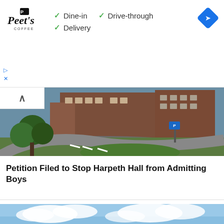[Figure (infographic): Peet's Coffee advertisement banner with logo, checkmarks for Dine-in, Drive-through, Delivery, and a blue navigation diamond icon]
[Figure (photo): Aerial view of Harpeth Hall school campus with brick buildings, trees, and curved driveway]
Petition Filed to Stop Harpeth Hall from Admitting Boys
[Figure (photo): City skyline with blue sky and clouds, partially visible]